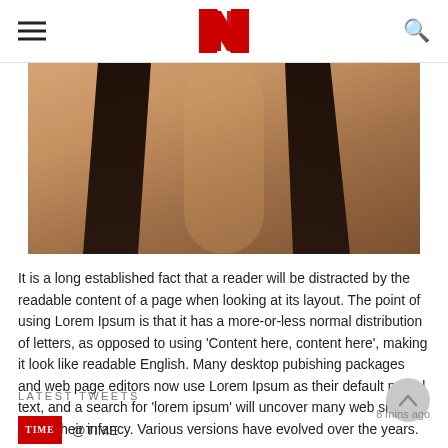Navigation header with hamburger menu, N logo, and search icon
[Figure (photo): Cropped photo of a woman with long dark hair, warm skin tones, wearing a light-colored top. Only neck and shoulder area visible.]
It is a long established fact that a reader will be distracted by the readable content of a page when looking at its layout. The point of using Lorem Ipsum is that it has a more-or-less normal distribution of letters, as opposed to using 'Content here, content here', making it look like readable English. Many desktop pubishing packages and web page editors now use Lorem Ipsum as their default model text, and a search for 'lorem ipsum' will uncover many web sites still in their infancy. Various versions have evolved over the years.
LATEST TWEETS
@TIME
8 mins ago